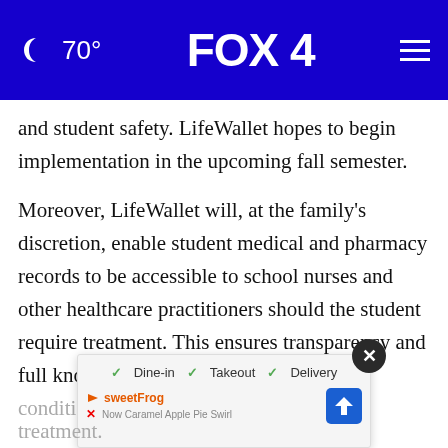🌙 70°   FOX 4   ≡
and student safety. LifeWallet hopes to begin implementation in the upcoming fall semester.
Moreover, LifeWallet will, at the family's discretion, enable student medical and pharmacy records to be accessible to school nurses and other healthcare practitioners should the student require treatment. This ensures transparency and full knowledge of the students updated conditions, allergies, and medications for immediate treatment.
[Figure (screenshot): Ad overlay showing Dine-in, Takeout, Delivery options with SweetFrog branding and navigation icon]